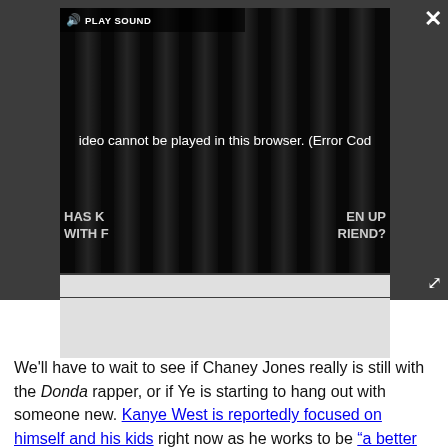[Figure (screenshot): Embedded video player overlay showing a dark background with tube-like shapes. A 'PLAY SOUND' bar appears at top left. Center text reads 'Video cannot be played in this browser. (Error Cod'. Partially visible text on left: 'HAS K / WITH F' and right: 'EN UP / RIEND?'. A close (X) button appears top right and an expand button bottom right.]
We'll have to wait to see if Chaney Jones really is still with the Donda rapper, or if Ye is starting to hang out with someone new. Kanye West is reportedly focused on himself and his kids right now as he works to be "a better human and a better dad."